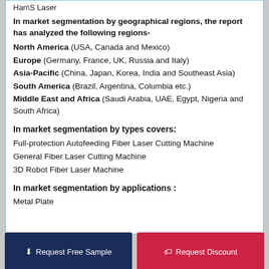Han\S Laser
In market segmentation by geographical regions, the report has analyzed the following regions-
North America (USA, Canada and Mexico)
Europe (Germany, France, UK, Russia and Italy)
Asia-Pacific (China, Japan, Korea, India and Southeast Asia)
South America (Brazil, Argentina, Columbia etc.)
Middle East and Africa (Saudi Arabia, UAE, Egypt, Nigeria and South Africa)
In market segmentation by types covers:
Full-protection Autofeeding Fiber Laser Cutting Machine
General Fiber Laser Cutting Machine
3D Robot Fiber Laser Machine
In market segmentation by applications :
Metal Plate